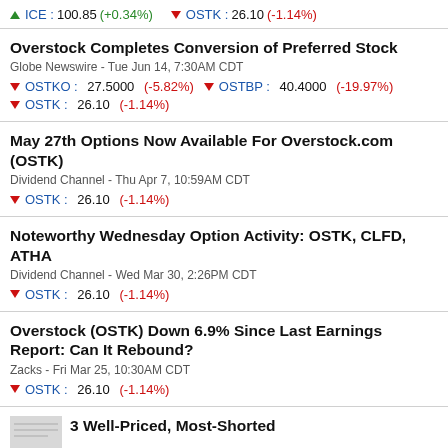ICE : 100.85 (+0.34%) OSTK : 26.10 (-1.14%)
Overstock Completes Conversion of Preferred Stock
Globe Newswire - Tue Jun 14, 7:30AM CDT
OSTKO : 27.5000 (-5.82%) OSTBP : 40.4000 (-19.97%) OSTK : 26.10 (-1.14%)
May 27th Options Now Available For Overstock.com (OSTK)
Dividend Channel - Thu Apr 7, 10:59AM CDT
OSTK : 26.10 (-1.14%)
Noteworthy Wednesday Option Activity: OSTK, CLFD, ATHA
Dividend Channel - Wed Mar 30, 2:26PM CDT
OSTK : 26.10 (-1.14%)
Overstock (OSTK) Down 6.9% Since Last Earnings Report: Can It Rebound?
Zacks - Fri Mar 25, 10:30AM CDT
OSTK : 26.10 (-1.14%)
3 Well-Priced, Most-Shorted